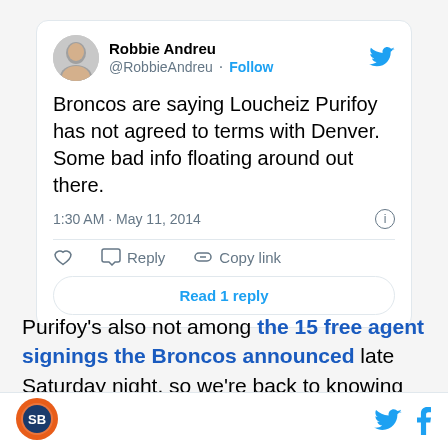[Figure (screenshot): Tweet card from @RobbieAndreu showing tweet text about Broncos and Loucheiz Purifoy]
Purifoy's also not among the 15 free agent signings the Broncos announced late Saturday night, so we're back to knowing nothing — besides that you should
[Figure (logo): Site logo in orange circle at bottom left, with Twitter and Facebook icons at bottom right]